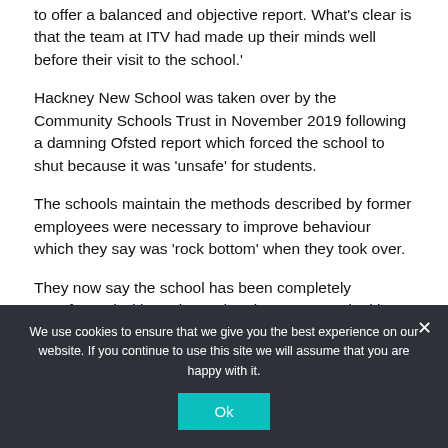to offer a balanced and objective report. What's clear is that the team at ITV had made up their minds well before their visit to the school.'
Hackney New School was taken over by the Community Schools Trust in November 2019 following a damning Ofsted report which forced the school to shut because it was 'unsafe' for students.
The schools maintain the methods described by former employees were necessary to improve behaviour which they say was 'rock bottom' when they took over.
They now say the school has been completely transformed with students chanting poetry and taking
We use cookies to ensure that we give you the best experience on our website. If you continue to use this site we will assume that you are happy with it.